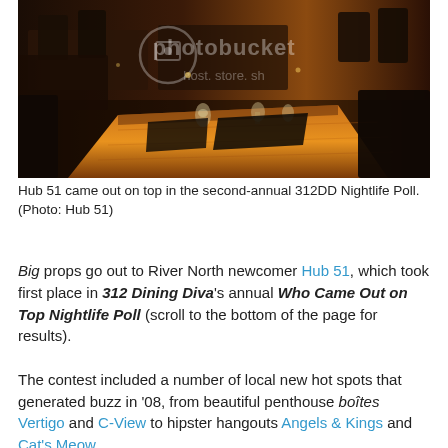[Figure (photo): Interior of Hub 51 restaurant showing wooden tables, chairs, and dim atmospheric lighting. A photobucket watermark is visible in the upper portion of the image.]
Hub 51 came out on top in the second-annual 312DD Nightlife Poll. (Photo: Hub 51)
Big props go out to River North newcomer Hub 51, which took first place in 312 Dining Diva's annual Who Came Out on Top Nightlife Poll (scroll to the bottom of the page for results).

The contest included a number of local new hot spots that generated buzz in '08, from beautiful penthouse boîtes Vertigo and C-View to hipster hangouts Angels & Kings and Cat's Meow.